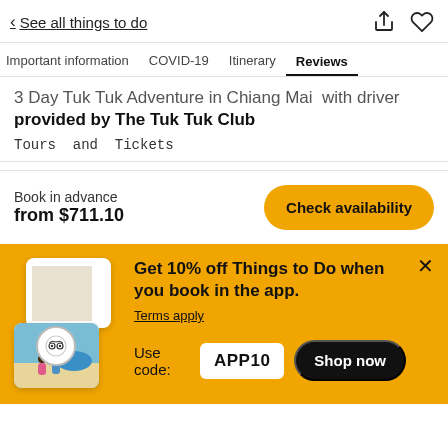< See all things to do
Important information  COVID-19  Itinerary  Reviews
3 Day Tuk Tuk Adventure in Chiang Mai  with driver provided by The Tuk Tuk Club
Tours and Tickets
Book in advance
from $711.10
Check availability
Get 10% off Things to Do when you book in the app.
Terms apply
Use code: APP10
Shop now